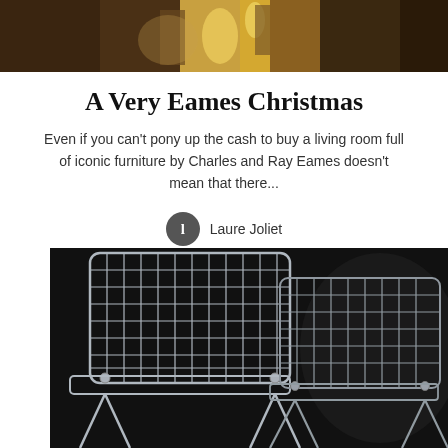[Figure (photo): Top portion of a warmly lit scene with candles and figures in golden light, partially cropped]
A Very Eames Christmas
Even if you can't pony up the cash to buy a living room full of iconic furniture by Charles and Ray Eames doesn't mean that there...
l  Laure Joliet
[Figure (photo): Close-up photograph of Eames wire chairs with chrome wire grid mesh pattern against a dark background]